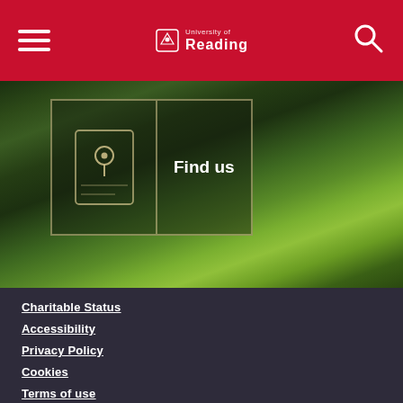University of Reading
[Figure (photo): Background image of green leafy trees/hedges with a 'Find us' card overlay showing a location/map icon]
Find us
Charitable Status
Accessibility
Privacy Policy
Cookies
Terms of use
Sitemap